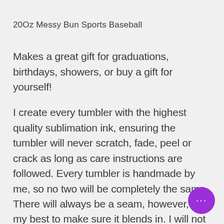20Oz Messy Bun Sports Baseball
Makes a great gift for graduations, birthdays, showers, or buy a gift for yourself!
I create every tumbler with the highest quality sublimation ink, ensuring the tumbler will never scratch, fade, peel or crack as long as care instructions are followed. Every tumbler is handmade by me, so no two will be completely the same. There will always be a seam, however, I do my best to make sure it blends in. I will not ship a defective product. My products are made to make you happy.